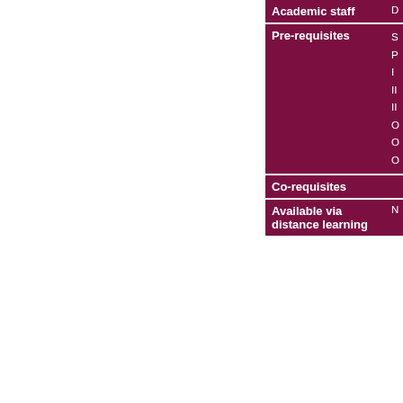| Academic staff |  |
| --- | --- |
| Pre-requisites | S
P
I
II
II
O
O
O |
| Co-requisites |  |
| Available via distance learning | N |
You will learn about the ways in which doing, you will develop skills that will practical aspects, such as registration
The IP module will also enable you to consider the efficaciousness of the re achieves its purported aims.
The module will facilitate lively debat